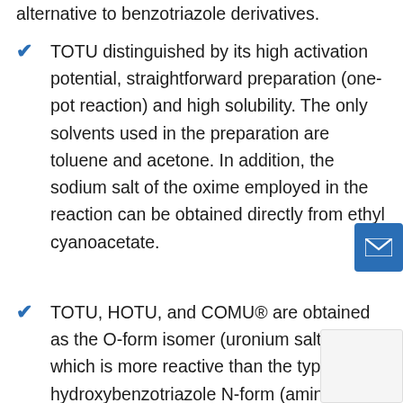alternative to benzotriazole derivatives.
TOTU distinguished by its high activation potential, straightforward preparation (one-pot reaction) and high solubility. The only solvents used in the preparation are toluene and acetone. In addition, the sodium salt of the oxime employed in the reaction can be obtained directly from ethyl cyanoacetate.
TOTU, HOTU, and COMU® are obtained as the O-form isomer (uronium salts), which is more reactive than the typical hydroxybenzotriazole N-form (aminium salts).